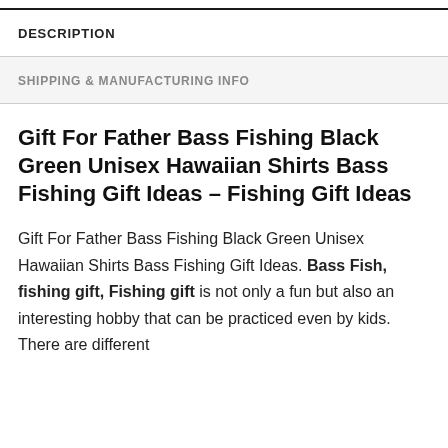DESCRIPTION
SHIPPING & MANUFACTURING INFO
Gift For Father Bass Fishing Black Green Unisex Hawaiian Shirts Bass Fishing Gift Ideas – Fishing Gift Ideas
Gift For Father Bass Fishing Black Green Unisex Hawaiian Shirts Bass Fishing Gift Ideas. Bass Fish, fishing gift, Fishing gift is not only a fun but also an interesting hobby that can be practiced even by kids. There are different